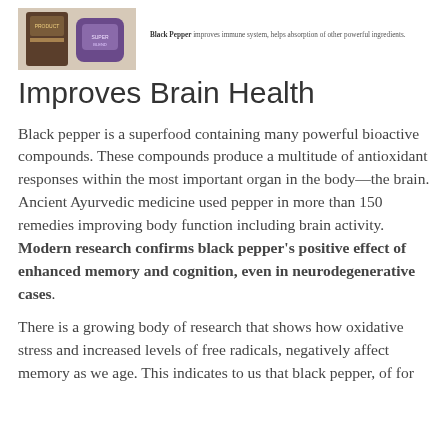[Figure (photo): Product photo showing two supplement product packages]
Black Pepper improves immune system, helps absorption of other powerful ingredients.
Improves Brain Health
Black pepper is a superfood containing many powerful bioactive compounds. These compounds produce a multitude of antioxidant responses within the most important organ in the body—the brain. Ancient Ayurvedic medicine used pepper in more than 150 remedies improving body function including brain activity. Modern research confirms black pepper's positive effect of enhanced memory and cognition, even in neurodegenerative cases.
There is a growing body of research that shows how oxidative stress and increased levels of free radicals, negatively affect memory as we age. This indicates to us that black pepper, of for...